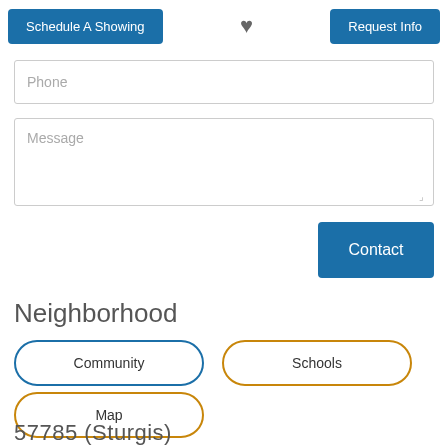[Figure (screenshot): Top navigation bar with 'Schedule A Showing' blue button on left, heart icon in center, and 'Request Info' blue button on right]
Phone
Message
Contact
Neighborhood
Community
Schools
Map
57785 (Sturgis)